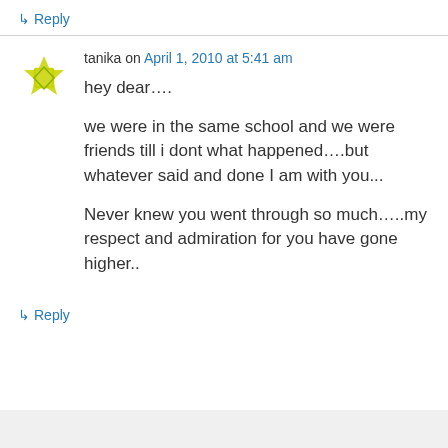↳ Reply
tanika on April 1, 2010 at 5:41 am
hey dear….
we were in the same school and we were friends till i dont what happened....but whatever said and done I am with you...
Never knew you went through so much…..my respect and admiration for you have gone higher..
↳ Reply